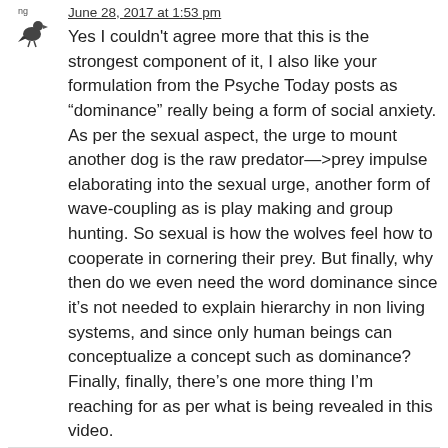[Figure (illustration): Small avatar icon of a bird/crow silhouette in dark color, with partial text 'ng' visible above it]
June 28, 2017 at 1:53 pm
Yes I couldn't agree more that this is the strongest component of it, I also like your formulation from the Psyche Today posts as “dominance” really being a form of social anxiety. As per the sexual aspect, the urge to mount another dog is the raw predator—>prey impulse elaborating into the sexual urge, another form of wave-coupling as is play making and group hunting. So sexual is how the wolves feel how to cooperate in cornering their prey. But finally, why then do we even need the word dominance since it’s not needed to explain hierarchy in non living systems, and since only human beings can conceptualize a concept such as dominance? Finally, finally, there’s one more thing I’m reaching for as per what is being revealed in this video.